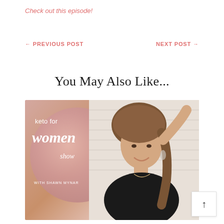Check out this episode!
← PREVIOUS POST
NEXT POST →
You May Also Like...
[Figure (photo): Podcast cover art for 'Keto for Women Show with Shawn Mynar' — a pink-toned image showing a circular rose-gold glittery badge with the show title, alongside a smiling woman with brown hair touching her hair, against a light background.]